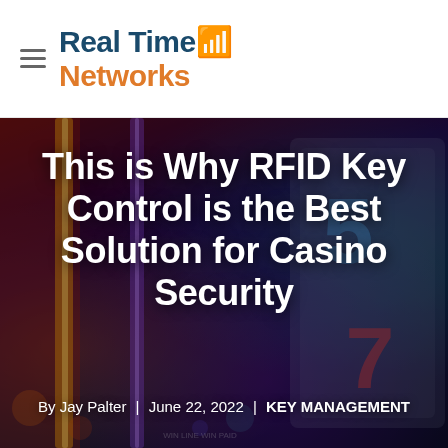Real Time Networks (logo)
[Figure (photo): Background photo of casino slot machines with colorful lights, blurred bokeh. Dark overlay with large white bold article title and byline text overlaid on top.]
This is Why RFID Key Control is the Best Solution for Casino Security
By Jay Palter | June 22, 2022 | KEY MANAGEMENT